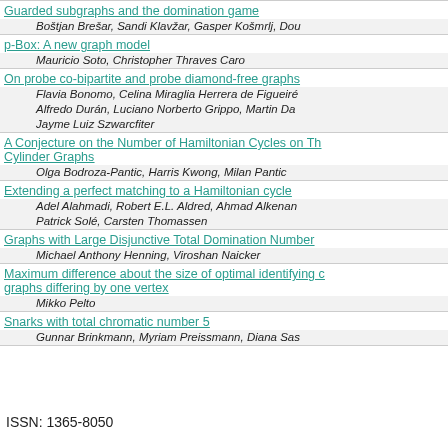Guarded subgraphs and the domination game
Boštjan Brešar, Sandi Klavžar, Gasper Košmrlj, Dou...
p-Box: A new graph model
Mauricio Soto, Christopher Thraves Caro
On probe co-bipartite and probe diamond-free graphs
Flavia Bonomo, Celina Miraglia Herrera de Figueiré...
Alfredo Durán, Luciano Norberto Grippo, Martin Da...
Jayme Luiz Szwarcfiter
A Conjecture on the Number of Hamiltonian Cycles on Th... Cylinder Graphs
Olga Bodroza-Pantic, Harris Kwong, Milan Pantic
Extending a perfect matching to a Hamiltonian cycle
Adel Alahmadi, Robert E.L. Aldred, Ahmad Alkenan...
Patrick Solé, Carsten Thomassen
Graphs with Large Disjunctive Total Domination Number
Michael Anthony Henning, Viroshan Naicker
Maximum difference about the size of optimal identifying c... graphs differing by one vertex
Mikko Pelto
Snarks with total chromatic number 5
Gunnar Brinkmann, Myriam Preissmann, Diana Sas...
ISSN: 1365-8050